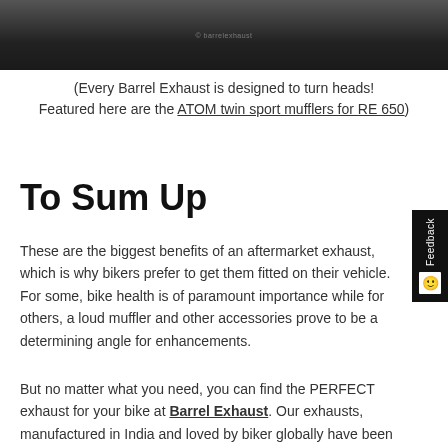[Figure (photo): Dark photograph of exhaust/motorcycle parts, appears to be a moody/atmospheric product shot with a small watermark at the bottom center.]
(Every Barrel Exhaust is designed to turn heads! Featured here are the ATOM twin sport mufflers for RE 650)
To Sum Up
These are the biggest benefits of an aftermarket exhaust, which is why bikers prefer to get them fitted on their vehicle. For some, bike health is of paramount importance while for others, a loud muffler and other accessories prove to be a determining angle for enhancements.
But no matter what you need, you can find the PERFECT exhaust for your bike at Barrel Exhaust. Our exhausts, manufactured in India and loved by biker globally have been engineered to create happy bikers.